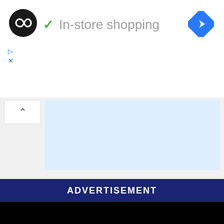[Figure (logo): Black circle logo with two overlapping infinity/loop arrows in white]
✓ In-store shopping
[Figure (logo): Blue diamond navigation/directions icon with white arrow]
▷
X
[Figure (other): Collapse/chevron up button and light blue panel area]
ADVERTISEMENT
[Figure (other): Black rectangle area below advertisement banner]